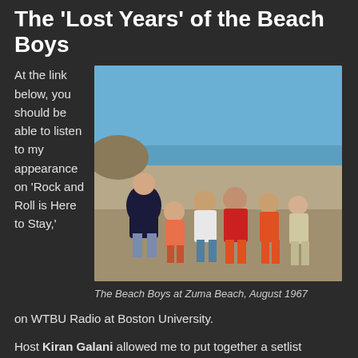The 'Lost Years' of the Beach Boys
At the link below, you should be able to listen to my appearance on 'Rock and Roll is Here to Stay,' on WTBU Radio at Boston University.
[Figure (photo): The Beach Boys standing on a beach, five men in casual/swimwear, blue sky and ocean visible in the background.]
The Beach Boys at Zuma Beach, August 1967
Host Kiran Galani allowed me to put together a setlist